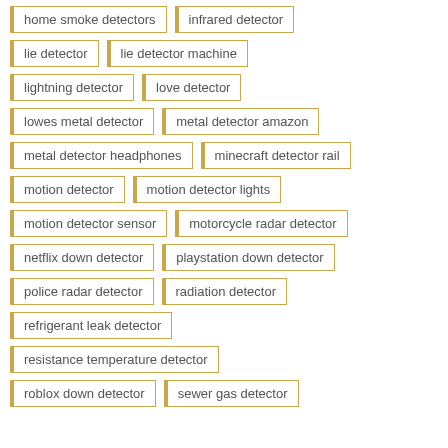home smoke detectors
infrared detector
lie detector
lie detector machine
lightning detector
love detector
lowes metal detector
metal detector amazon
metal detector headphones
minecraft detector rail
motion detector
motion detector lights
motion detector sensor
motorcycle radar detector
netflix down detector
playstation down detector
police radar detector
radiation detector
refrigerant leak detector
resistance temperature detector
roblox down detector
sewer gas detector